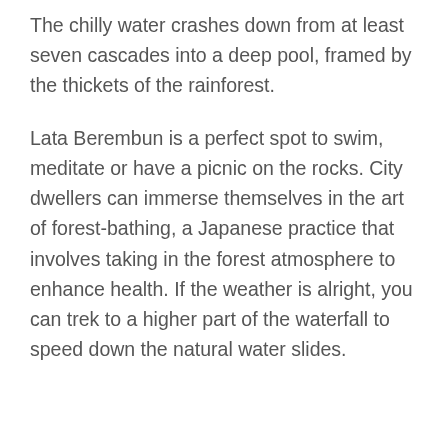The chilly water crashes down from at least seven cascades into a deep pool, framed by the thickets of the rainforest.
Lata Berembun is a perfect spot to swim, meditate or have a picnic on the rocks. City dwellers can immerse themselves in the art of forest-bathing, a Japanese practice that involves taking in the forest atmosphere to enhance health. If the weather is alright, you can trek to a higher part of the waterfall to speed down the natural water slides.